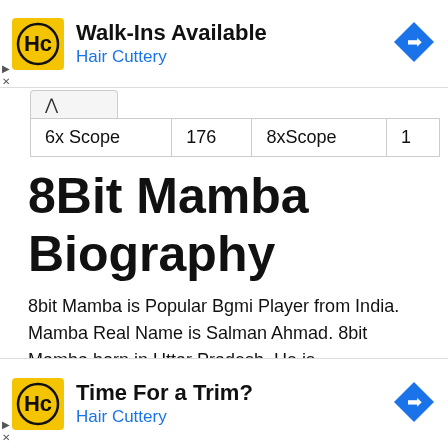[Figure (infographic): Hair Cuttery advertisement banner: yellow HC logo, 'Walk-Ins Available' title, 'Hair Cuttery' subtitle in blue, blue diamond navigation icon on right]
| 6x Scope | 176 | 8xScope | 1 |
8Bit Mamba Biography
8bit Mamba is Popular Bgmi Player from India. Mamba Real Name is Salman Ahmad. 8bit Mamba born in Uttar Pradesh. He is
[Figure (infographic): Hair Cuttery advertisement banner: yellow HC logo, 'Time For a Trim?' title, 'Hair Cuttery' subtitle in blue, blue diamond navigation icon on right]